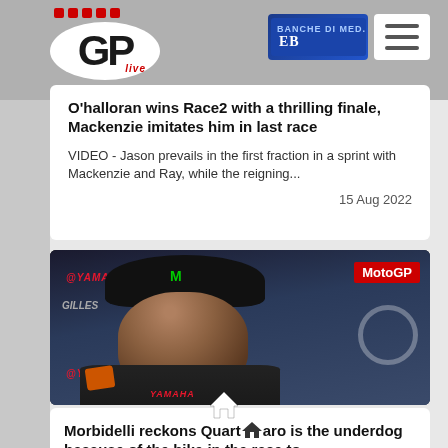GPLive - motorcycle racing news website header
O'halloran wins Race2 with a thrilling finale, Mackenzie imitates him in last race
VIDEO - Jason prevails in the first fraction in a sprint with Mackenzie and Ray, while the reigning...
15 Aug 2022
[Figure (photo): MotoGP rider (Franco Morbidelli) in Yamaha racing leathers and Monster Energy cap, inside a garage, with Yamaha branding visible. MotoGP badge in top right corner.]
Morbidelli reckons Quartararo is the underdog because of the bike in the race to